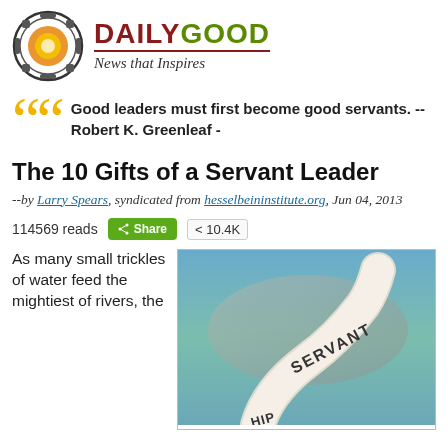[Figure (logo): DailyGood logo with circular icon and text 'DAILYGOOD News that Inspires']
Good leaders must first become good servants. -- Robert K. Greenleaf -
The 10 Gifts of a Servant Leader
--by Larry Spears, syndicated from hesselbeininstitute.org, Jun 04, 2013
114569 reads  Share  10.4K
As many small trickles of water feed the mightiest of rivers, the
[Figure (photo): A twisted ribbon or banner with the word SERVANT visible, curling upward on a blue-green background]